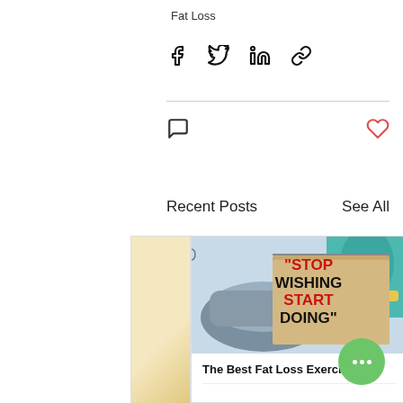Fat Loss
[Figure (screenshot): Social share bar with Facebook, Twitter, LinkedIn, and link icons]
[Figure (screenshot): Comment icon on left, heart (like) icon on right in red outline]
Recent Posts
See All
[Figure (photo): Partial left post card clipped. Center post card showing a motivational notepad image with text "STOP WISHING START DOING" and title "The Best Fat Loss Exercise." Partial right post card clipped showing dark background.]
The Best Fat Loss Exercise.